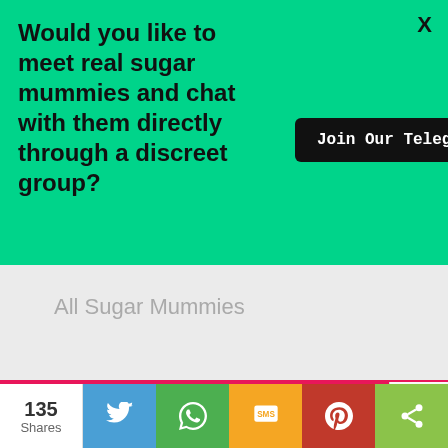Would you like to meet real sugar mummies and chat with them directly through a discreet group?
X
[Figure (other): Black button with white text: Join Our Telegram Group HERE]
All Sugar Mummies
© Sugar Mummy Free 2022
135 Shares